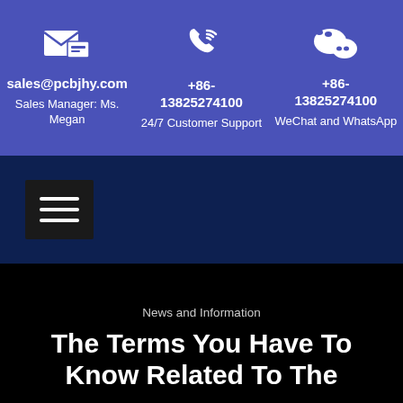[Figure (infographic): Contact information bar with three columns: email icon with sales@pcbjhy.com and Sales Manager Ms. Megan; phone icon with +86-13825274100 and 24/7 Customer Support; WeChat icon with +86-13825274100 and WeChat and WhatsApp]
[Figure (infographic): Navigation bar with hamburger menu icon on dark navy background]
News and Information
The Terms You Have To Know Related To The